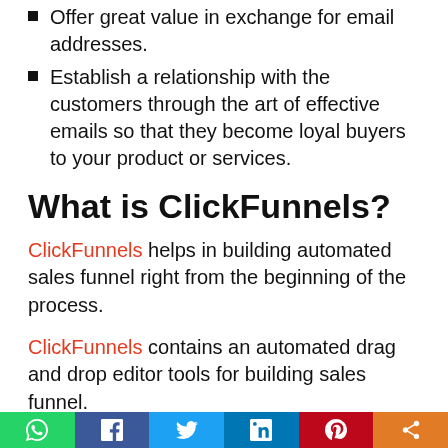Offer great value in exchange for email addresses.
Establish a relationship with the customers through the art of effective emails so that they become loyal buyers to your product or services.
What is ClickFunnels?
ClickFunnels helps in building automated sales funnel right from the beginning of the process.
ClickFunnels contains an automated drag and drop editor tools for building sales funnel.
ClickFunnels make the process much easier for